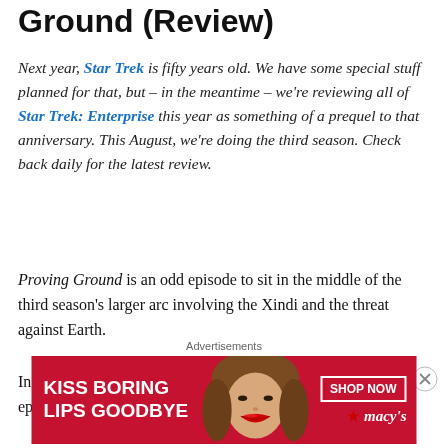Ground (Review)
Next year, Star Trek is fifty years old. We have some special stuff planned for that, but – in the meantime – we're reviewing all of Star Trek: Enterprise this year as something of a prequel to that anniversary. This August, we're doing the third season. Check back daily for the latest review.
Proving Ground is an odd episode to sit in the middle of the third season's larger arc involving the Xindi and the threat against Earth.
In a very real sense, it is more serialised than a lot of the episodes leading up to it. The episode even opens with a
Advertisements
[Figure (photo): Macy's advertisement banner: 'KISS BORING LIPS GOODBYE' with a woman's face and red lips, SHOP NOW button and Macy's logo on red background]